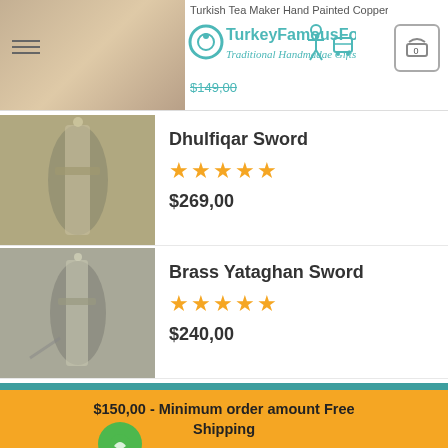Turkish Tea MakerHand Painted Copper — TurkeyFamousFor Traditional Handmadae Gifts — $149,00
Dhulfiqar Sword
★★★★★
$269,00
Brass Yataghan Sword
★★★★★
$240,00
ABOUT US
Traditional Handmade Gift Shop
$150,00 - Minimum order amount Free Shipping